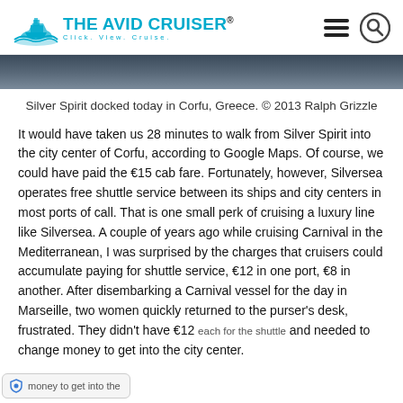THE AVID CRUISER® Click. View. Cruise.
[Figure (photo): Dark aerial or waterfront photo strip, partially visible at top of content area]
Silver Spirit docked today in Corfu, Greece. © 2013 Ralph Grizzle
It would have taken us 28 minutes to walk from Silver Spirit into the city center of Corfu, according to Google Maps. Of course, we could have paid the €15 cab fare. Fortunately, however, Silversea operates free shuttle service between its ships and city centers in most ports of call. That is one small perk of cruising a luxury line like Silversea. A couple of years ago while cruising Carnival in the Mediterranean, I was surprised by the charges that cruisers could accumulate paying for shuttle service, €12 in one port, €8 in another. After disembarking a Carnival vessel for the day in Marseille, two women quickly returned to the purser's desk, frustrated. They didn't have €12 each for the shuttle and needed to change money to get into the city center.